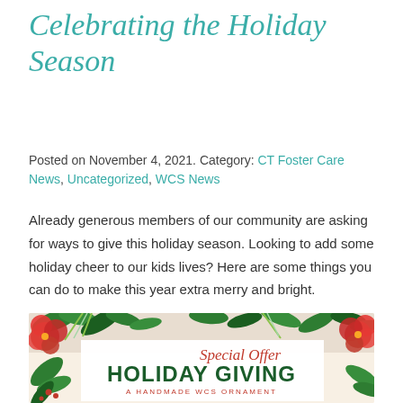Celebrating the Holiday Season
Posted on November 4, 2021. Category: CT Foster Care News, Uncategorized, WCS News
Already generous members of our community are asking for ways to give this holiday season. Looking to add some holiday cheer to our kids lives? Here are some things you can do to make this year extra merry and bright.
[Figure (illustration): Holiday giving promotional image with red poinsettia flowers, green leaves, and holly berry decorations forming a border. White center area contains red cursive 'Special Offer' text overlapping dark green bold 'HOLIDAY GIVING' text, with smaller red text 'A HANDMADE WCS ORNAMENT' below.]